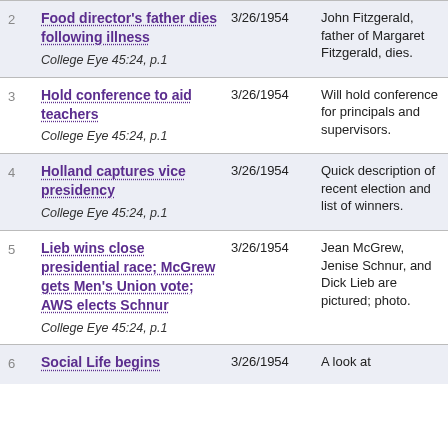| # | Title / Source | Date | Description |
| --- | --- | --- | --- |
| 2 | Food director's father dies following illness
College Eye 45:24, p.1 | 3/26/1954 | John Fitzgerald, father of Margaret Fitzgerald, dies. |
| 3 | Hold conference to aid teachers
College Eye 45:24, p.1 | 3/26/1954 | Will hold conference for principals and supervisors. |
| 4 | Holland captures vice presidency
College Eye 45:24, p.1 | 3/26/1954 | Quick description of recent election and list of winners. |
| 5 | Lieb wins close presidential race; McGrew gets Men's Union vote; AWS elects Schnur
College Eye 45:24, p.1 | 3/26/1954 | Jean McGrew, Jenise Schnur, and Dick Lieb are pictured; photo. |
| 6 | Social Life begins | 3/26/1954 | A look at |